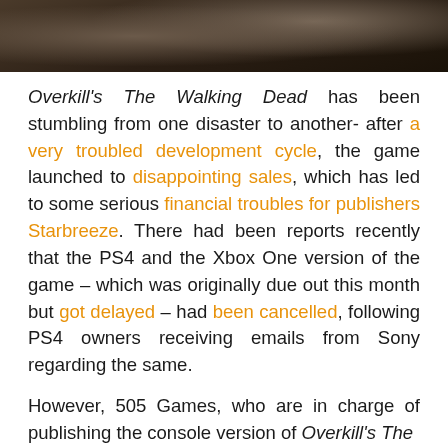[Figure (photo): Dark moody image at the top of the page, appears to show a figure or scene with dark brown and grey tones]
Overkill's The Walking Dead has been stumbling from one disaster to another- after a very troubled development cycle, the game launched to disappointing sales, which has led to some serious financial troubles for publishers Starbreeze. There had been reports recently that the PS4 and the Xbox One version of the game – which was originally due out this month but got delayed – had been cancelled, following PS4 owners receiving emails from Sony regarding the same.
However, 505 Games, who are in charge of publishing the console version of Overkill's The